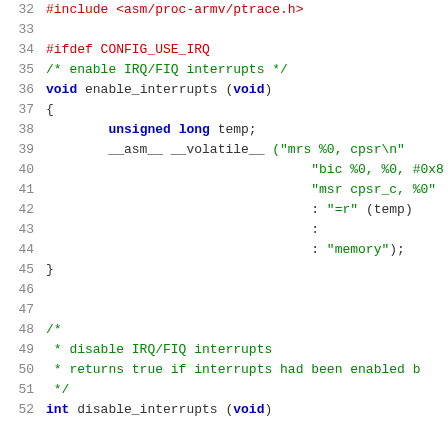[Figure (screenshot): Source code listing showing C code with line numbers 32-52, including #include, #ifdef, a void enable_interrupts function with inline assembly, and the beginning of an int disable_interrupts function. Syntax highlighting: preprocessor directives in red, keywords in blue bold, comments and strings in green, other code in dark.]